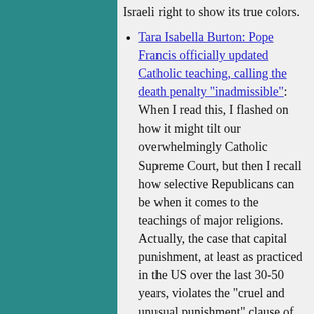Israeli right to show its true colors.
Tara Isabella Burton: Pope Francis officially updated Catholic teaching, calling the death penalty "inadmissible": When I read this, I flashed on how it might tilt our overwhelmingly Catholic Supreme Court, but then I recall how selective Republicans can be when it comes to the teachings of major religions. Actually, the case that capital punishment, at least as practiced in the US over the last 30-50 years, violates the "cruel and unusual punishment" clause of the Constitution. You'd also think that anyone with a libertarian bent would come down against letting the government execute people.
Stephen F Cohen: Trump as New Cold War Heretic: I don't doubt that many Americans exploit Cold War tropes and clichés when they agitate against Russia, simply because they're lazy and appealing to prejudice is often the easiest path. We've seen the same trick applied elsewhere, as when hawks played up old antipathies to Assad and Gaddafi to push